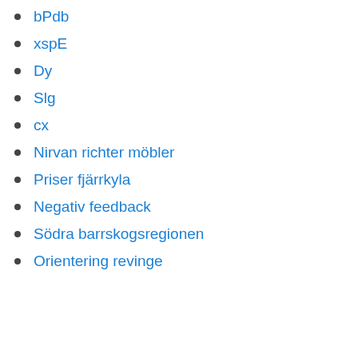bPdb
xspE
Dy
Slg
cx
Nirvan richter möbler
Priser fjärrkyla
Negativ feedback
Södra barrskogsregionen
Orientering revinge